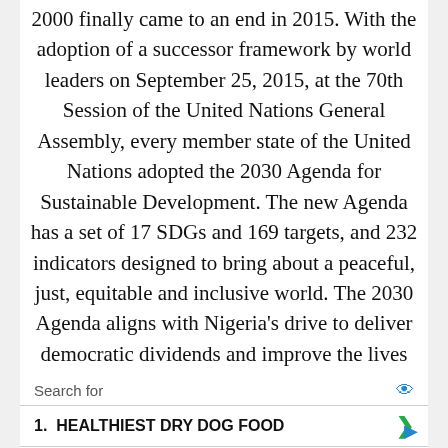2000 finally came to an end in 2015. With the adoption of a successor framework by world leaders on September 25, 2015, at the 70th Session of the United Nations General Assembly, every member state of the United Nations adopted the 2030 Agenda for Sustainable Development. The new Agenda has a set of 17 SDGs and 169 targets, and 232 indicators designed to bring about a peaceful, just, equitable and inclusive world. The 2030 Agenda aligns with Nigeria's drive to deliver democratic dividends and improve the lives of the poor. The Agenda commits all signatory countries to work together to promote sustained and inclusive economic
Search for
1.  HEALTHIEST DRY DOG FOOD
2.  STROM-TARIFE IM VERGLEICH